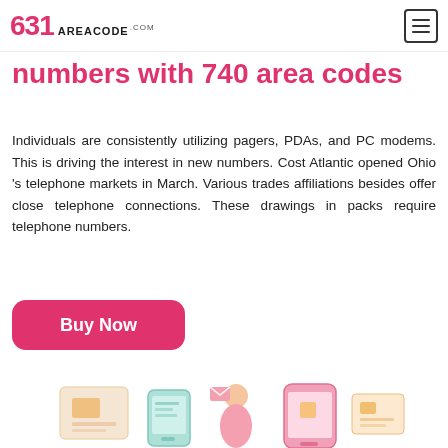631 AREACODE.com
numbers with 740 area codes
Individuals are consistently utilizing pagers, PDAs, and PC modems. This is driving the interest in new numbers. Cost Atlantic opened Ohio 's telephone markets in March. Various trades affiliations besides offer close telephone connections. These drawings in packs require telephone numbers.
[Figure (other): Pink rounded rectangle button with white bold text 'Buy Now']
[Figure (illustration): Cartoon illustration showing mobile phones, messaging icons, and a person — partial view at bottom of page]